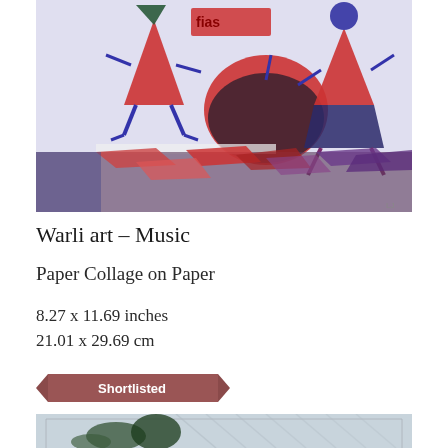[Figure (illustration): Warli art style paper collage on paper showing stylized figures made from geometric shapes (triangles, circles) in red, blue, and black against a light purple/white background. Three figures appear to be playing or dancing with musical instruments. A large red drum/cymbal shape is in the center. The bottom portion shows torn paper collage in reds, blues, and purples.]
Warli art – Music
Paper Collage on Paper
8.27 x 11.69 inches
21.01 x 29.69 cm
Shortlisted
[Figure (photo): Partial view of another artwork showing what appears to be palm trees or tropical vegetation against a light background, partially visible at the bottom of the page.]